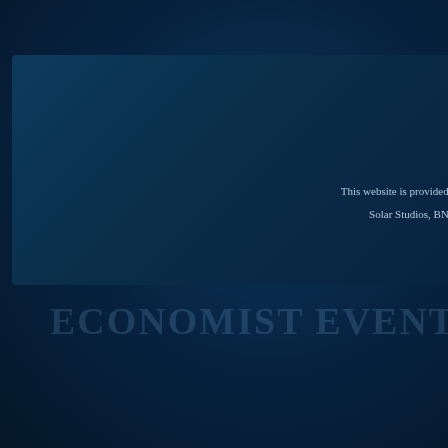Pr
This website is provided on a free ba
Solar Studios, BN271RF, Unit
ECONOMIST EVENTS - A